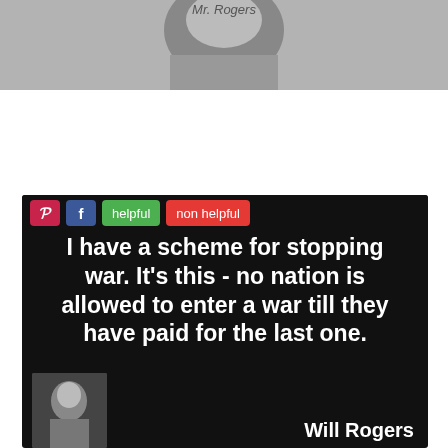[Figure (photo): Top portion of a black and white photograph, partially cropped, showing text 'Mr. Rogers' visible at top]
[Figure (infographic): Dark-background quote card with social media toolbar buttons (Pinterest, Facebook, helpful, non helpful). Quote reads: 'I have a scheme for stopping war. It's this - no nation is allowed to enter a war till they have paid for the last one.' Attribution to Will Rogers with small portrait photo at bottom left.]